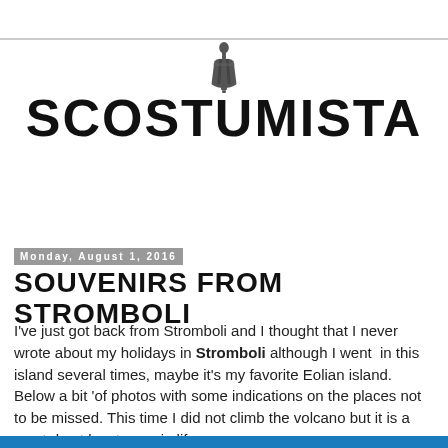[Figure (logo): SCOSTUMISTA blog logo with a dress form figure above the text]
Monday, August 1, 2016
SOUVENIRS FROM STROMBOLI
I've just got back from Stromboli and I thought that I never wrote about my holidays in Stromboli although I went in this island several times, maybe it's my favorite Eolian island. Below a bit 'of photos with some indications on the places not to be missed. This time I did not climb the volcano but it is a must do at least once in life.